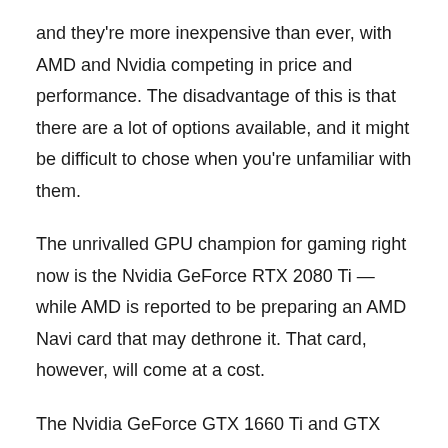and they're more inexpensive than ever, with AMD and Nvidia competing in price and performance. The disadvantage of this is that there are a lot of options available, and it might be difficult to chose when you're unfamiliar with them.
The unrivalled GPU champion for gaming right now is the Nvidia GeForce RTX 2080 Ti — while AMD is reported to be preparing an AMD Navi card that may dethrone it. That card, however, will come at a cost.
The Nvidia GeForce GTX 1660 Ti and GTX 1660 Super are budget heroes for gaming. In terms of value, the AMD Radeon RX 5600 XT and AMD Radeon RX 5700 XT even